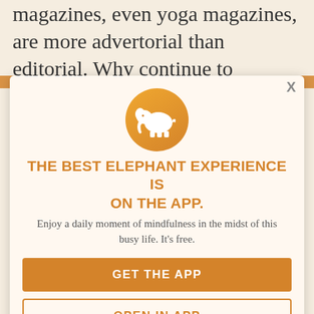magazines, even yoga magazines, are more advertorial than editorial. Why continue to pay a subscription for to be sold a lifestyle you don't really want to buy?
Nowadays I sometimes cherish it, lingering in the long line at the grocery store in order to peruse an old copy and return home some of my magazines were in another life. New Yorker but others I do. Washington. These images of fashion week Model. A reminder from T Magazine road reminder of the true story behind the beautiful images. of how completely
[Figure (logo): Elephant Journal app icon: white elephant silhouette on orange circular background]
THE BEST ELEPHANT EXPERIENCE IS ON THE APP.
Enjoy a daily moment of mindfulness in the midst of this busy life. It's free.
GET THE APP
OPEN IN APP